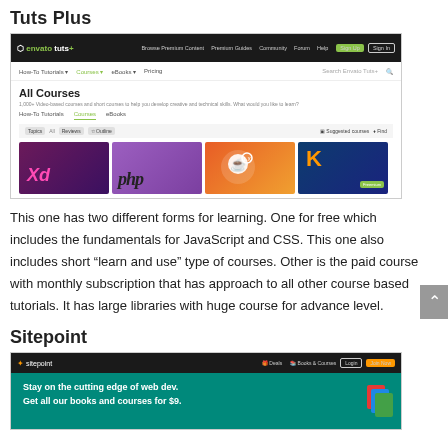Tuts Plus
[Figure (screenshot): Screenshot of Tuts Plus website showing All Courses page with course thumbnails for Adobe XD, PHP, CoffeeScript, and Kotlin]
This one has two different forms for learning. One for free which includes the fundamentals for JavaScript and CSS. This one also includes short “learn and use” type of courses. Other is the paid course with monthly subscription that has approach to all other course based tutorials. It has large libraries with huge course for advance level.
Sitepoint
[Figure (screenshot): Screenshot of Sitepoint website showing teal hero banner with text: Stay on the cutting edge of web dev. Get all our books and courses for $9.]